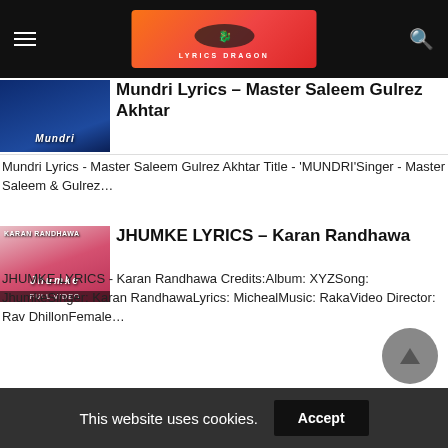Lyrics Dragon – navigation header
Mundri Lyrics – Master Saleem Gulrez Akhtar
Mundri Lyrics - Master Saleem Gulrez Akhtar Title - 'MUNDRI'Singer - Master Saleem & Gulrez…
JHUMKE LYRICS – Karan Randhawa
JHUMKE LYRICS - Karan Randhawa Credits:Album: XYZSong: JhumkeSinger: Karan RandhawaLyrics: MichealMusic: RakaVideo Director: Rav DhillonFemale…
This website uses cookies. Accept